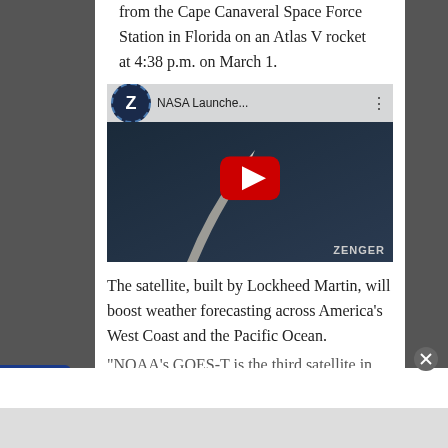from the Cape Canaveral Space Force Station in Florida on an Atlas V rocket at 4:38 p.m. on March 1.
[Figure (screenshot): YouTube video thumbnail showing a rocket launch with the Zenger channel logo, titled 'NASA Launche...' with a red play button overlay and 'ZENGER' watermark]
The satellite, built by Lockheed Martin, will boost weather forecasting across America's West Coast and the Pacific Ocean.
"NOAA's GOES-T is the third satellite in
infolinks